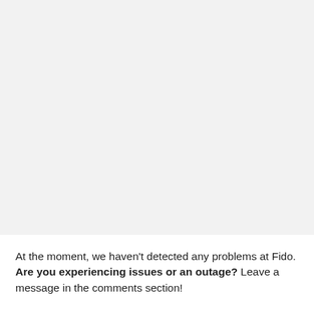At the moment, we haven't detected any problems at Fido. Are you experiencing issues or an outage? Leave a message in the comments section!